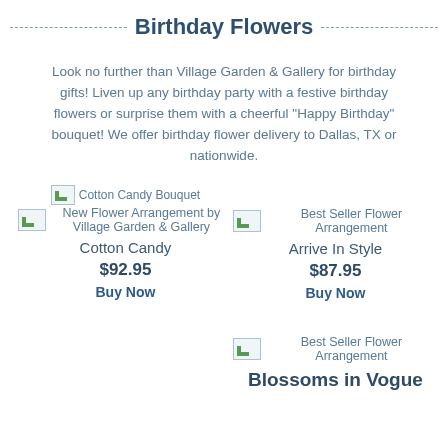Birthday Flowers
Look no further than Village Garden & Gallery for birthday gifts! Liven up any birthday party with a festive birthday flowers or surprise them with a cheerful "Happy Birthday" bouquet! We offer birthday flower delivery to Dallas, TX or nationwide.
[Figure (photo): Cotton Candy Bouquet product image placeholder with alt text 'Cotton Candy Bouquet']
[Figure (photo): New Flower Arrangement by Village Garden & Gallery product image placeholder]
Cotton Candy
$92.95
Buy Now
[Figure (photo): Best Seller Flower Arrangement product image placeholder]
Arrive In Style
$87.95
Buy Now
[Figure (photo): Best Seller Flower Arrangement product image placeholder for Blossoms in Vogue]
Blossoms in Vogue